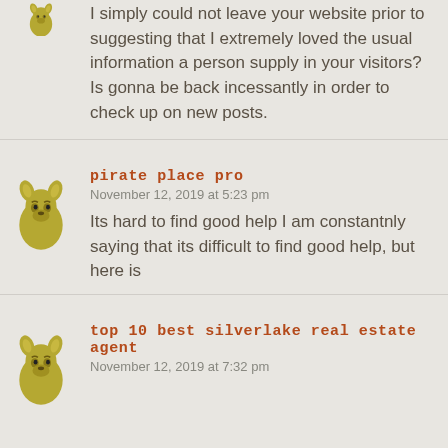I simply could not leave your website prior to suggesting that I extremely loved the usual information a person supply in your visitors? Is gonna be back incessantly in order to check up on new posts.
pirate place pro
November 12, 2019 at 5:23 pm
Its hard to find good help I am constantnly saying that its difficult to find good help, but here is
top 10 best silverlake real estate agent
November 12, 2019 at 7:32 pm